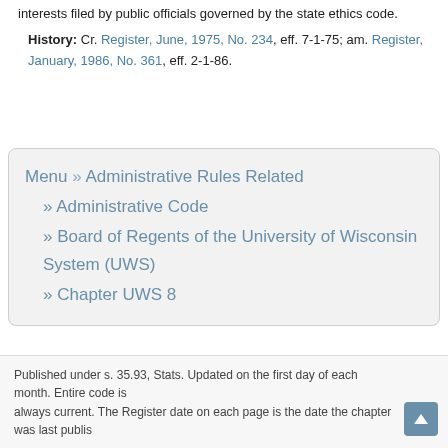interests filed by public officials governed by the state ethics code.
History: Cr. Register, June, 1975, No. 234, eff. 7-1-75; am. Register, January, 1986, No. 361, eff. 2-1-86.
Menu » Administrative Rules Related
» Administrative Code
» Board of Regents of the University of Wisconsin System (UWS)
» Chapter UWS 8
Published under s. 35.93, Stats. Updated on the first day of each month. Entire code is always current. The Register date on each page is the date the chapter was last publis